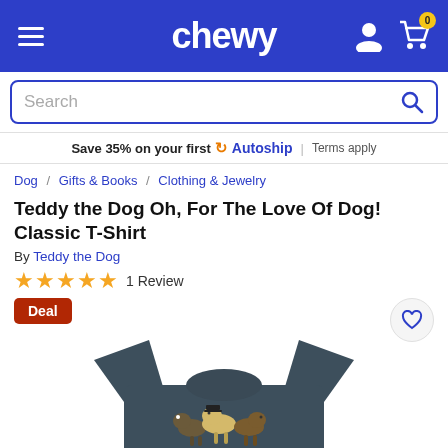chewy
Search
Save 35% on your first Autoship | Terms apply
Dog / Gifts & Books / Clothing & Jewelry
Teddy the Dog Oh, For The Love Of Dog! Classic T-Shirt
By Teddy the Dog
1 Review
Deal
[Figure (photo): Dark gray t-shirt with dogs graphic and text 'Oh, For the love of dog!']